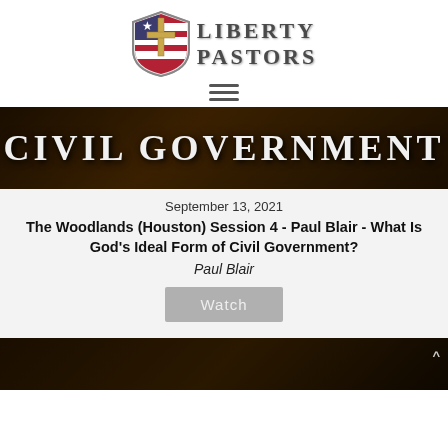[Figure (logo): Liberty Pastors logo with shield containing a cross and American flag, next to the text 'Liberty Pastors' in serif font]
[Figure (illustration): Hamburger menu icon (three horizontal lines)]
[Figure (photo): Dark banner image with white text reading 'Civil Government']
September 13, 2021
The Woodlands (Houston) Session 4 - Paul Blair - What Is God's Ideal Form of Civil Government?
Paul Blair
[Figure (screenshot): Watch button (gray button with text 'Watch')]
[Figure (photo): Dark brown/black image strip at the bottom of the page, partially visible]